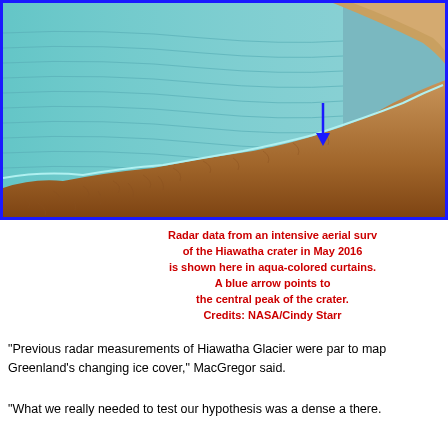[Figure (illustration): 3D visualization of Hiawatha crater showing aqua-colored radar data curtains over brown terrain. A blue arrow points to the central peak of the crater. The image has a blue border.]
Radar data from an intensive aerial surv of the Hiawatha crater in May 2016 is shown here in aqua-colored curtains. A blue arrow points to the central peak of the crater. Credits: NASA/Cindy Starr
"Previous radar measurements of Hiawatha Glacier were par to map Greenland's changing ice cover," MacGregor said.
"What we really needed to test our hypothesis was a dense a there.